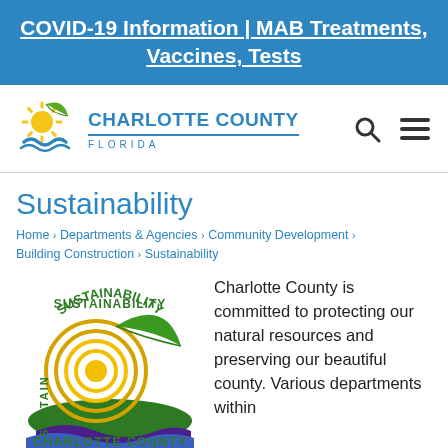COVID-19 Information | MAB Treatments, Vaccines, Tests
[Figure (logo): Charlotte County Florida logo with sun and leaf graphic]
Sustainability
Home › Departments & Agencies › Community Development › Building Construction › Sustainability
[Figure (logo): Charlotte County Sustainability logo with sun, leaf, and waves]
Charlotte County is committed to protecting our natural resources and preserving our beautiful county. Various departments within